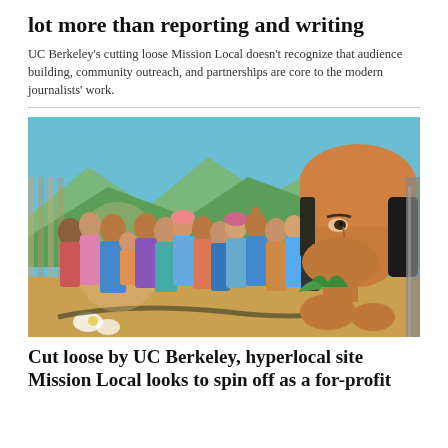lot more than reporting and writing
UC Berkeley's cutting loose Mission Local doesn't recognize that audience building, community outreach, and partnerships are core to the modern journalists' work.
[Figure (illustration): A colorful mural depicting a large group of women and children of various ethnicities in traditional and colorful dress, with a large close-up figure of a woman wearing an orange headscarf in the foreground right. Mountains and blue sky in the background.]
Cut loose by UC Berkeley, hyperlocal site Mission Local looks to spin off as a for-profit